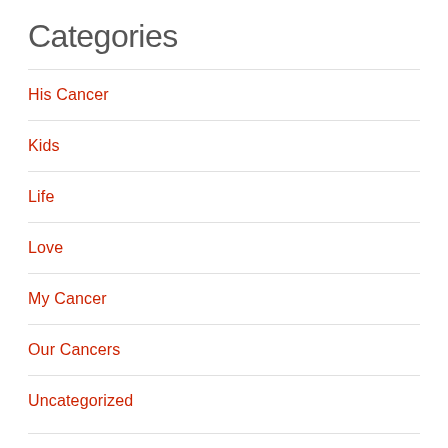Categories
His Cancer
Kids
Life
Love
My Cancer
Our Cancers
Uncategorized